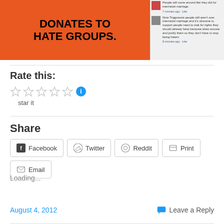[Figure (screenshot): Orange banner reading 'DONATES TO HATE GROUPS.' with Facebook comment panel on right]
Rate this:
[Figure (other): Five empty star rating icons followed by a blue info circle icon, with 'star it' text below]
Share
Facebook   Twitter   Reddit   Print   Email
Loading...
August 4, 2012
Leave a Reply